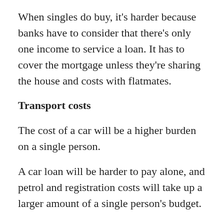When singles do buy, it's harder because banks have to consider that there's only one income to service a loan. It has to cover the mortgage unless they're sharing the house and costs with flatmates.
Transport costs
The cost of a car will be a higher burden on a single person.
A car loan will be harder to pay alone, and petrol and registration costs will take up a larger amount of a single person's budget.
Food
Cooking for one can cost nearly as much as a meal